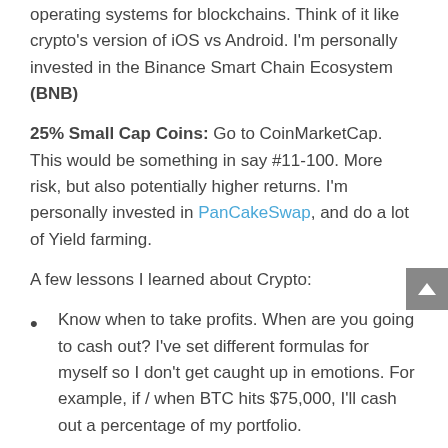operating systems for blockchains. Think of it like crypto's version of iOS vs Android. I'm personally invested in the Binance Smart Chain Ecosystem (BNB)
25% Small Cap Coins: Go to CoinMarketCap. This would be something in say #11-100. More risk, but also potentially higher returns. I'm personally invested in PanCakeSwap, and do a lot of Yield farming.
A few lessons I learned about Crypto:
Know when to take profits. When are you going to cash out? I've set different formulas for myself so I don't get caught up in emotions. For example, if / when BTC hits $75,000, I'll cash out a percentage of my portfolio.
Keep a certain % in Bitcoin. When there's a bull market, the altcoins are going to rise the fastest.